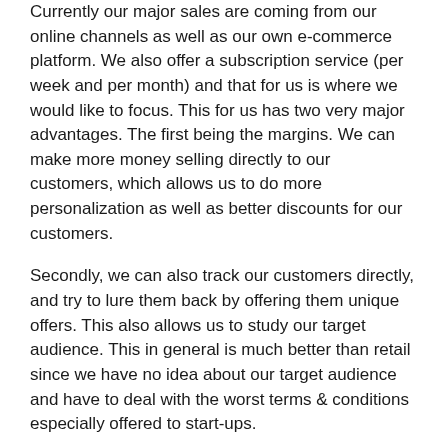Currently our major sales are coming from our online channels as well as our own e-commerce platform. We also offer a subscription service (per week and per month) and that for us is where we would like to focus. This for us has two very major advantages. The first being the margins. We can make more money selling directly to our customers, which allows us to do more personalization as well as better discounts for our customers.
Secondly, we can also track our customers directly, and try to lure them back by offering them unique offers. This also allows us to study our target audience. This in general is much better than retail since we have no idea about our target audience and have to deal with the worst terms & conditions especially offered to start-ups.
Do you foresee a trend where startups and companies in the food sector will collaborate with each other?
Yes absolutely! Currently it costs a lot of money to enter any premium modern trade store. And it costs even more money to get the right kind of visibility in a crowded market space.